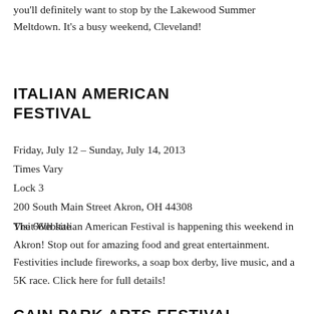you'll definitely want to stop by the Lakewood Summer Meltdown. It's a busy weekend, Cleveland!
ITALIAN AMERICAN FESTIVAL
Friday, July 12 – Sunday, July 14, 2013
Times Vary
Lock 3
200 South Main Street Akron, OH 44308
Visit Website
The 66th Italian American Festival is happening this weekend in Akron! Stop out for amazing food and great entertainment. Festivities include fireworks, a soap box derby, live music, and a 5K race. Click here for full details!
CAIN PARK ARTS FESTIVAL